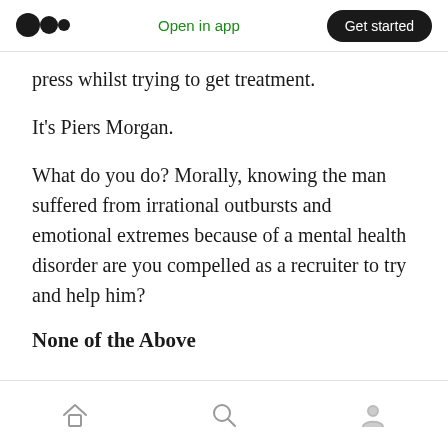Medium logo | Open in app | Get started
press whilst trying to get treatment.
It’s Piers Morgan.
What do you do? Morally, knowing the man suffered from irrational outbursts and emotional extremes because of a mental health disorder are you compelled as a recruiter to try and help him?
None of the Above
Bottom navigation bar: home, search, profile